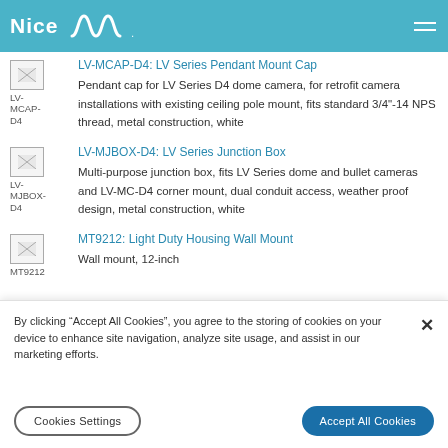Nice [logo] construction, white
construction, white
[Figure (logo): Nice logo with wave graphic on teal/blue header bar]
LV-MCAP-D4: LV Series Pendant Mount Cap
Pendant cap for LV Series D4 dome camera, for retrofit camera installations with existing ceiling pole mount, fits standard 3/4"-14 NPS thread, metal construction, white
LV-MJBOX-D4: LV Series Junction Box
Multi-purpose junction box, fits LV Series dome and bullet cameras and LV-MC-D4 corner mount, dual conduit access, weather proof design, metal construction, white
MT9212: Light Duty Housing Wall Mount
Wall mount, 12-inch
By clicking “Accept All Cookies”, you agree to the storing of cookies on your device to enhance site navigation, analyze site usage, and assist in our marketing efforts.
Cookies Settings
Accept All Cookies